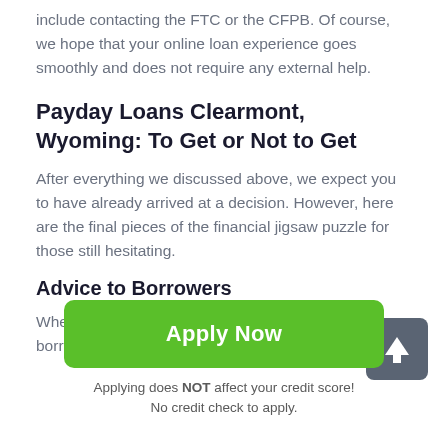include contacting the FTC or the CFPB. Of course, we hope that your online loan experience goes smoothly and does not require any external help.
Payday Loans Clearmont, Wyoming: To Get or Not to Get
After everything we discussed above, we expect you to have already arrived at a decision. However, here are the final pieces of the financial jigsaw puzzle for those still hesitating.
Advice to Borrowers
When in doubt, try risk-free options first, such as borrowing
[Figure (other): Dark grey square button with white upward arrow icon, used as a scroll-to-top button]
[Figure (other): Green 'Apply Now' button]
Applying does NOT affect your credit score!
No credit check to apply.